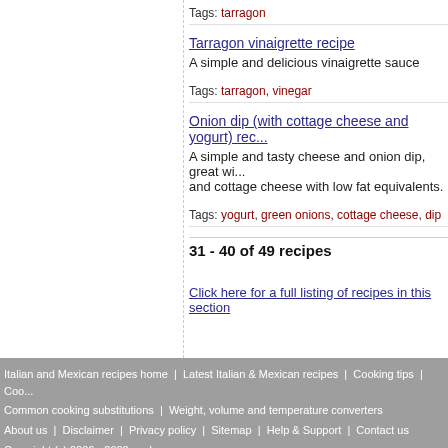Tags: tarragon
Tarragon vinaigrette recipe
A simple and delicious vinaigrette sauce
Tags: tarragon, vinegar
Onion dip (with cottage cheese and yogurt) rec...
A simple and tasty cheese and onion dip, great wi... and cottage cheese with low fat equivalents.
Tags: yogurt, green onions, cottage cheese, dip
31 - 40 of 49 recipes
Click here for a full listing of recipes in this section
Italian and Mexican recipes home | Latest Italian & Mexican recipes | Cooking tips | Coo... Common cooking substitutions | Weight, volume and temperature converters About us | Disclaimer | Privacy policy | Sitemap | Help & Support | Contact us Copyright (c) 2006 - 2022 cookaz.com